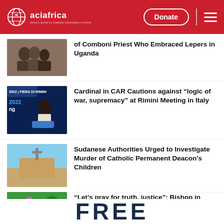aciafrica — Donate
of Comboni Priest Who Embraced Lepers in Uganda
Cardinal in CAR Cautions against “logic of war, supremacy” at Rimini Meeting in Italy
Sudanese Authorities Urged to Investigate Murder of Catholic Permanent Deacon’s Children
“Let’s pray for truth, justice”: Bishop in Kenya after Presidential Petition is Filed
FREE